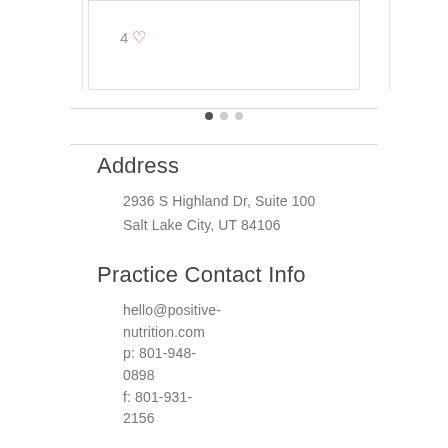[Figure (other): Partial card UI showing a like count of 4 with a heart icon, with navigation dots below]
Address
2936 S Highland Dr, Suite 100
Salt Lake City, UT 84106
Practice Contact Info
hello@positive-nutrition.com
p: 801-948-0898
f: 801-931-2156